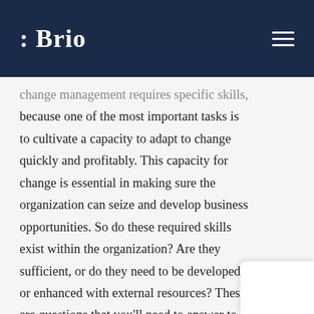: Brio
change management requires specific skills, because one of the most important tasks is to cultivate a capacity to adapt to change quickly and profitably. This capacity for change is essential in making sure the organization can seize and develop business opportunities. So do these required skills exist within the organization? Are they sufficient, or do they need to be developed or enhanced with external resources? These are questions that you'll need to answer to properly identify your requirements and elaborate your financing model for the necessary resources.